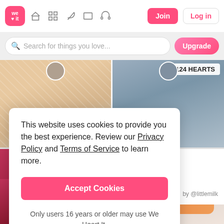[Figure (screenshot): We Heart It website navigation bar with logo, icons, Join and Log in buttons]
[Figure (screenshot): Search bar with 'Search for things you love...' placeholder and Upgrade button]
[Figure (photo): Top-left image: beige/pink tulle fabric]
[Figure (photo): Top-right image: Doll Eyes text with 124 HEARTS badge]
This website uses cookies to provide you the best experience. Review our Privacy Policy and Terms of Service to learn more.
Accept Cookies
Only users 16 years or older may use We Heart It.
utfit and Makeup I...
GER SNAPS
sed: 2001
lorror/Fantasy
nore ›    by @littlemilk
[Figure (photo): Bottom-left: close-up of pink/red lipstick]
[Figure (photo): Bottom-right: person wearing orange sunglasses with avatar circle]